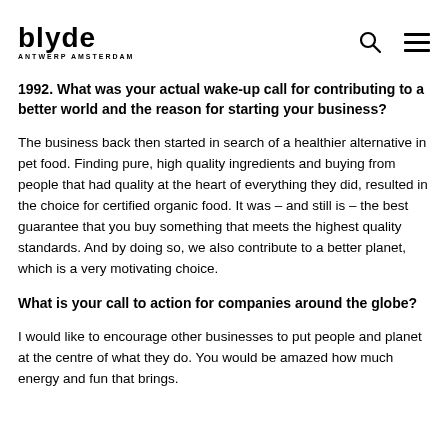blyde
1992. What was your actual wake-up call for contributing to a better world and the reason for starting your business?
The business back then started in search of a healthier alternative in pet food. Finding pure, high quality ingredients and buying from people that had quality at the heart of everything they did, resulted in the choice for certified organic food. It was – and still is – the best guarantee that you buy something that meets the highest quality standards. And by doing so, we also contribute to a better planet, which is a very motivating choice.
What is your call to action for companies around the globe?
I would like to encourage other businesses to put people and planet at the centre of what they do. You would be amazed how much energy and fun that brings.